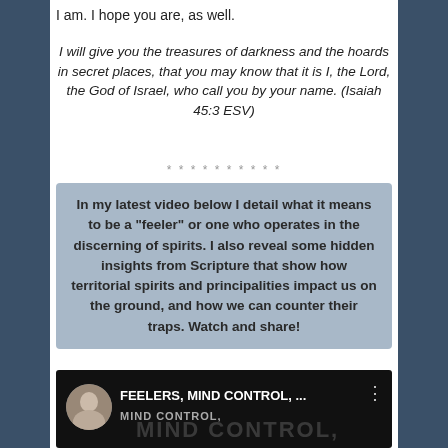I am. I hope you are, as well.
I will give you the treasures of darkness and the hoards in secret places, that you may know that it is I, the Lord, the God of Israel, who call you by your name. (Isaiah 45:3 ESV)
**********
In my latest video below I detail what it means to be a “feeler” or one who operates in the discerning of spirits. I also reveal some hidden insights from Scripture that show how territorial spirits and principalities impact us on the ground, and how we can counter their traps. Watch and share!
[Figure (screenshot): Video thumbnail showing a woman's circular avatar photo on dark background, title text 'FEELERS, MIND CONTROL,...' in white, and 'MIND CONTROL.' in gray below, with a vertical dots menu icon.]